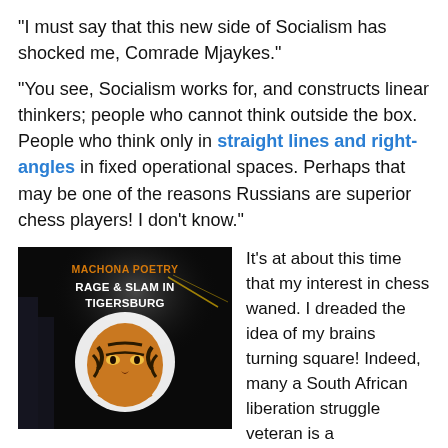“I must say that this new side of Socialism has shocked me, Comrade Mjaykes.”
“You see, Socialism works for, and constructs linear thinkers; people who cannot think outside the box. People who think only in straight lines and right-angles in fixed operational spaces. Perhaps that may be one of the reasons Russians are superior chess players! I don’t know.”
[Figure (illustration): Book cover for 'Machona Poetry: Rage & Slam in Tigersburg' showing a dark background with a figure wearing a tiger-striped mask/face paint, with the title text in bold orange and white lettering.]
It’s at about this time that my interest in chess waned. I dreaded the idea of my brains turning square! Indeed, many a South African liberation struggle veteran is a